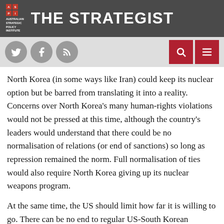THE STRATEGIST — Australian Strategic Policy Institute
North Korea (in some ways like Iran) could keep its nuclear option but be barred from translating it into a reality. Concerns over North Korea's many human-rights violations would not be pressed at this time, although the country's leaders would understand that there could be no normalisation of relations (or end of sanctions) so long as repression remained the norm. Full normalisation of ties would also require North Korea giving up its nuclear weapons program.
At the same time, the US should limit how far it is willing to go. There can be no end to regular US-South Korean military exercises, which are a necessary component of deterrence and potential defence, given the military threat posed by the North. For the same reason, any limits on US forces in the country or region would be unacceptable. And any negotiation must take